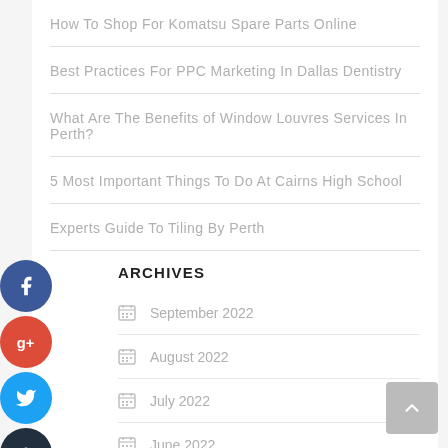How To Shop For Komatsu Spare Parts Online
Best Practices For PPC Marketing In Dallas Dentistry
What Are The Benefits of Window Louvres Services In Perth?
5 Most Important Things To Do At Cairns High School
Experts Guide To Tiling By Perth
ARCHIVES
September 2022
August 2022
July 2022
June 2022